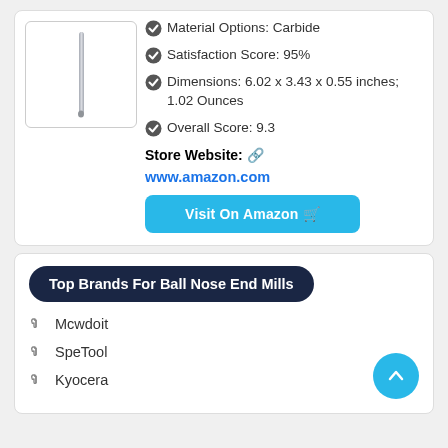[Figure (photo): Product image of a carbide ball nose end mill tool, shown as a thin metallic cylindrical rod with a rounded tip, inside a bordered box]
Material Options: Carbide
Satisfaction Score: 95%
Dimensions: 6.02 x 3.43 x 0.55 inches; 1.02 Ounces
Overall Score: 9.3
Store Website: 🔗
www.amazon.com
Visit On Amazon 🛒
Top Brands For Ball Nose End Mills
Mcwdoit
SpeTool
Kyocera